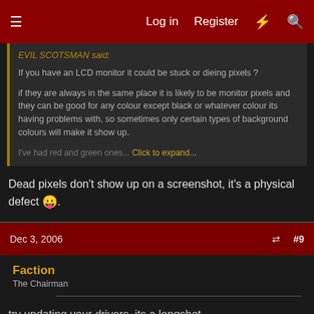Log in  Register  #9
EVIL SCOTSMAN said:
If you have an LCD monitor it could be stuck or dieing pixels ?

if they are always in the same place it is likely to be monitor pixels and they can be good for any colour except black or whatever colour its having problems with, so sometimes only certain types of background colours will make it show up.

I've had red and green ones... Click to expand...
Dead pixels don't show up on a screenshot, it's a physical defect 😛.
Dec 3, 2006  #9
Faction
The Chairman
try updating your drivers, its a longshot.